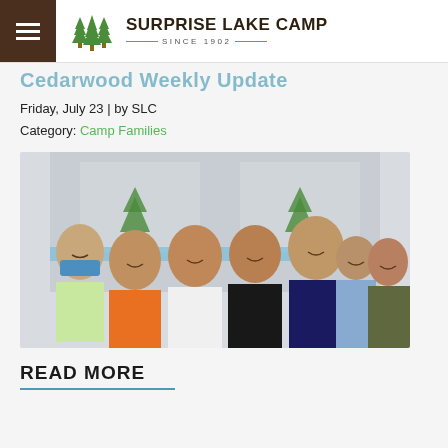Surprise Lake Camp — Since 1902 (navigation header with logo)
Cedarwood Weekly Update
Friday, July 23 | by SLC
Category: Camp Families
[Figure (photo): Group photo of seven children posing in front of a Surprise Lake Camp branded backdrop. One child on the left is wearing a blue face mask. The children are smiling and posing together.]
READ MORE